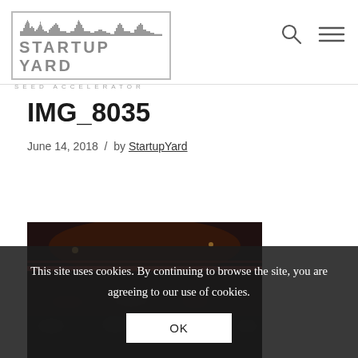StartupYard – Seed Accelerator (logo and navigation)
IMG_8035
June 14, 2018 / by StartupYard
[Figure (photo): Dark photo of an event/conference venue interior with audience in foreground and stage lighting in background]
This site uses cookies. By continuing to browse the site, you are agreeing to our use of cookies.
OK